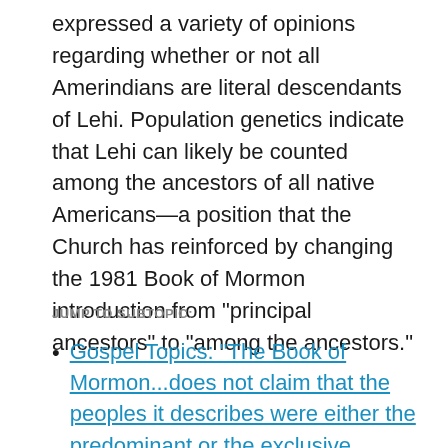expressed a variety of opinions regarding whether or not all Amerindians are literal descendants of Lehi. Population genetics indicate that Lehi can likely be counted among the ancestors of all native Americans—a position that the Church has reinforced by changing the 1981 Book of Mormon introduction from "principal ancestors" to "among the ancestors."
JUMP TO SUBTOPIC:
Gospel Topics: "The Book of Mormon...does not claim that the peoples it describes were either the predominant or the exclusive inhabitants of the lands they occupied"